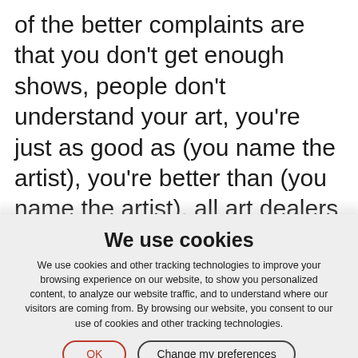of the better complaints are that you don't get enough shows, people don't understand your art, you're just as good as (you name the artist), you're better than (you name the artist), all art dealers are crooks, all art critics are jerks, all museum curators are prima donnas, art collectors only buy big.
We use cookies
We use cookies and other tracking technologies to improve your browsing experience on our website, to show you personalized content, to analyze our website traffic, and to understand where our visitors are coming from. By browsing our website, you consent to our use of cookies and other tracking technologies.